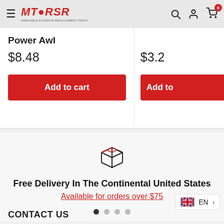MT RSR — navigation header with hamburger menu, logo, search, user, and cart icons
Power Awl
$8.48
Add to cart
$3.2
Add to
[Figure (illustration): Package/box icon representing shipping/delivery]
Free Delivery In The Continental United States
Available for orders over $75
CONTACT US